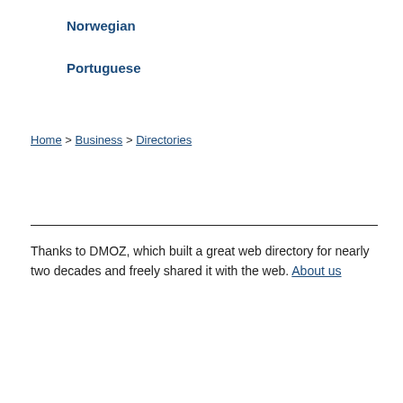Norwegian
Portuguese
Home > Business > Directories
Thanks to DMOZ, which built a great web directory for nearly two decades and freely shared it with the web. About us